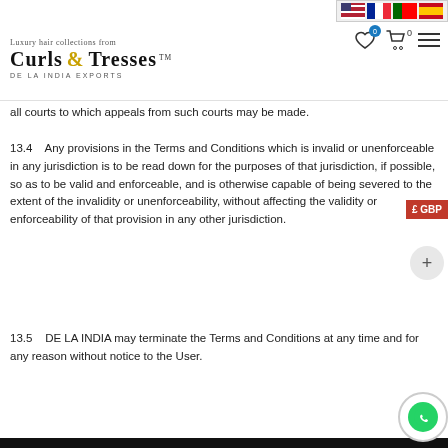[Figure (screenshot): Website header with flag icons (US, France, Portugal, Spain), Curls & Tresses De La India Exports logo with script tagline, navigation icons including wishlist and cart with badge showing 0, and hamburger menu]
all courts to which appeals from such courts may be made.
13.4    Any provisions in the Terms and Conditions which is invalid or unenforceable in any jurisdiction is to be read down for the purposes of that jurisdiction, if possible, so as to be valid and enforceable, and is otherwise capable of being severed to the extent of the invalidity or unenforceability, without affecting the validity or enforceability of that provision in any other jurisdiction.
13.5    DE LA INDIA may terminate the Terms and Conditions at any time and for any reason without notice to the User.